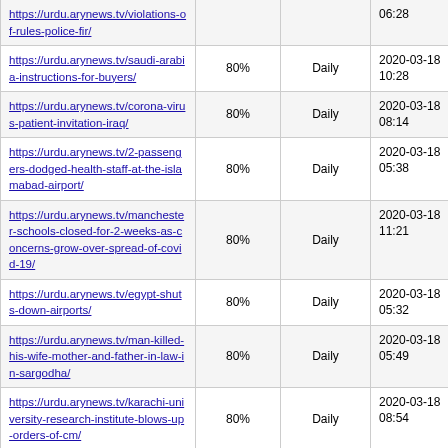| URL | Priority | Change Frequency | Last Modified |
| --- | --- | --- | --- |
| https://urdu.arynews.tv/violations-of-rules-police-fir/ | ... | ... | ... 06:28 |
| https://urdu.arynews.tv/saudi-arabia-instructions-for-buyers/ | 80% | Daily | 2020-03-18 10:28 |
| https://urdu.arynews.tv/corona-virus-patient-invitation-iraq/ | 80% | Daily | 2020-03-18 08:14 |
| https://urdu.arynews.tv/2-passengers-dodged-health-staff-at-the-islamabad-airport/ | 80% | Daily | 2020-03-18 05:38 |
| https://urdu.arynews.tv/manchester-schools-closed-for-2-weeks-as-concerns-grow-over-spread-of-covid-19/ | 80% | Daily | 2020-03-18 11:21 |
| https://urdu.arynews.tv/egypt-shuts-down-airports/ | 80% | Daily | 2020-03-18 05:32 |
| https://urdu.arynews.tv/man-killed-his-wife-mother-and-father-in-law-in-sargodha/ | 80% | Daily | 2020-03-18 05:49 |
| https://urdu.arynews.tv/karachi-university-research-institute-blows-up-orders-of-cm/ | 80% | Daily | 2020-03-18 08:54 |
| https://urdu.arynews.tv/coronavirus-europe-announces-closing-borders-for-30-days/ | 80% | Daily | 2020-03-18 04:56 |
| https://urdu.arynews.tv/corona-virus-kills-7987/ | 80% | Daily | 2020-03-18 05:23 |
| https://urdu.arynews.tv/us-presidential-elections-former-vice-president-joe-biden-at-the-forefront/ | 80% | Daily | 2020-03-18 04:54 |